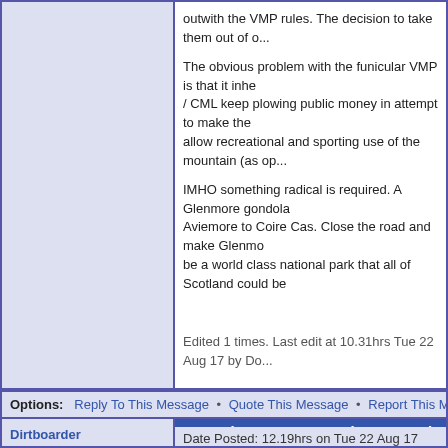outwith the VMP rules. The decision to take them out of o...
The obvious problem with the funicular VMP is that it inhe... / CML keep plowing public money in attempt to make the... allow recreational and sporting use of the mountain (as op...
IMHO something radical is required. A Glenmore gondola... Aviemore to Coire Cas. Close the road and make Glenm... be a world class national park that all of Scotland could be...
Edited 1 times. Last edit at 10.31hrs Tue 22 Aug 17 by Do...
Options: Reply To This Message • Quote This Message • Report This Messa...
Re: CairnGorm - Natural Retreats develo...
Date Posted: 12.19hrs on Tue 22 Aug 17
Dirtboarder
Guest
Why is this going to attract more people?
What is unique about it? Where is the selling point?

Why would people travel to Cairgorm to go to a restauran...
Perhaps it will be famous for the amazing food at reasona...

So not only do they lose the dedicated snow sports fans b... but also any new visitors have no reason to return. Why w... If by some chance they do return will they be attracted by... anyway and does not require a visit to the shop or restau...

The only analogy I can think of is going fishing with the be...